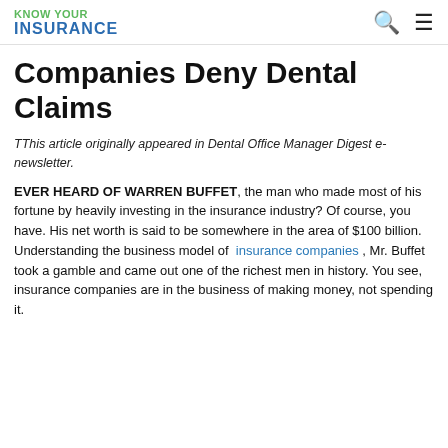KNOW YOUR INSURANCE
Companies Deny Dental Claims
TThis article originally appeared in Dental Office Manager Digest e-newsletter.
EVER HEARD OF WARREN BUFFET, the man who made most of his fortune by heavily investing in the insurance industry? Of course, you have. His net worth is said to be somewhere in the area of $100 billion. Understanding the business model of insurance companies , Mr. Buffet took a gamble and came out one of the richest men in history. You see, insurance companies are in the business of making money, not spending it.